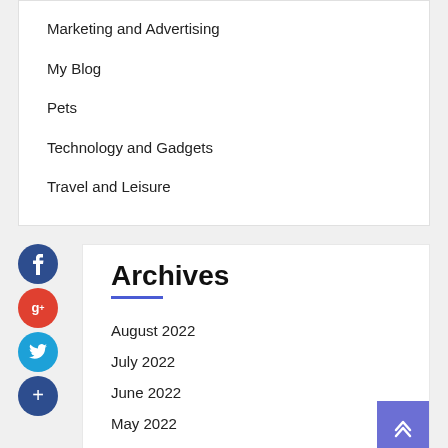Marketing and Advertising
My Blog
Pets
Technology and Gadgets
Travel and Leisure
Archives
August 2022
July 2022
June 2022
May 2022